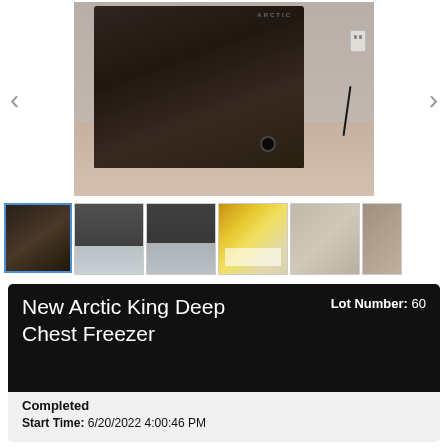[Figure (photo): Main product photo of a black Arctic King deep chest freezer sitting on carpet flooring with a wall outlet visible to the right. Navigation arrows on left and right sides.]
[Figure (photo): Thumbnail strip of 6 product photos: (1) selected - side view of black freezer, (2) open freezer top view showing interior, (3) open freezer top view with silver interior, (4) yellow box/packaging with documents, (5) plastic-wrapped item, (6) partial view of item.]
New Arctic King Deep Chest Freezer
Lot Number: 60
Completed
Start Time: 6/20/2022 4:00:46 PM
End Time: 6/30/2022 10:00:54 PM